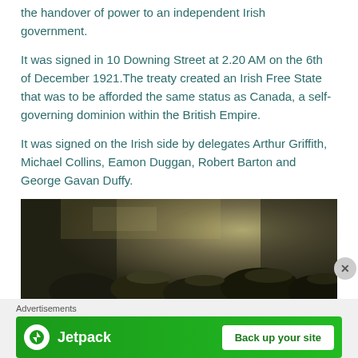the handover of power to an independent Irish government.
It was signed in 10 Downing Street at 2.20 AM on the 6th of December 1921.The treaty created an Irish Free State that was to be afforded the same status as Canada, a self-governing dominion within the British Empire.
It was signed on the Irish side by delegates Arthur Griffith, Michael Collins, Eamon Duggan, Robert Barton and George Gavan Duffy.
[Figure (photo): Black and white historical photograph showing a crowd of people wearing hats, likely from the early 20th century.]
Advertisements
[Figure (other): Jetpack advertisement banner with 'Back up your site' button on green background.]